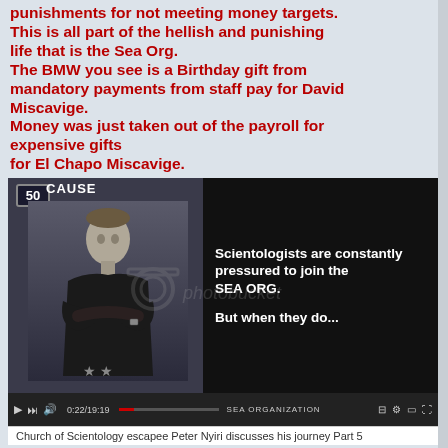punishments for not meeting money targets. This is all part of the hellish and punishing life that is the Sea Org.
The BMW you see is a Birthday gift from mandatory payments from staff pay for David Miscavige.
Money was just taken out of the payroll for expensive gifts
for El Chapo Miscavige.
[Figure (screenshot): Video screenshot showing a Scientology promotional video. Left side: a young man in black clothing with arms crossed, standing before a dark background, with badge showing '50' and text 'CAUSE'. Right side: black background with white bold text reading 'Scientologists are constantly pressured to join the SEA ORG.' and 'But when they do...' Video player controls visible at bottom with timestamp 0:22/19:19 and 'SEA ORGANIZATION' label. Photobucket watermark overlaid.]
Church of Scientology escapee Peter Nyiri discusses his journey Part 5